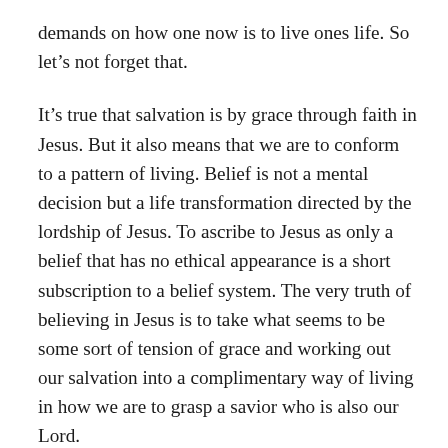demands on how one now is to live ones life. So let’s not forget that.
It’s true that salvation is by grace through faith in Jesus. But it also means that we are to conform to a pattern of living. Belief is not a mental decision but a life transformation directed by the lordship of Jesus. To ascribe to Jesus as only a belief that has no ethical appearance is a short subscription to a belief system. The very truth of believing in Jesus is to take what seems to be some sort of tension of grace and working out our salvation into a complimentary way of living in how we are to grasp a savior who is also our Lord.